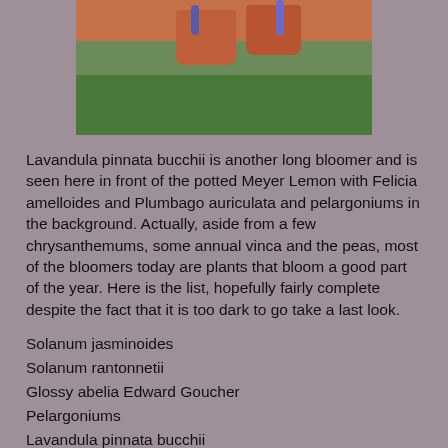[Figure (photo): Garden photo showing terracotta pots with blue flowering plants (Lavandula pinnata bucchii) in front, green foliage in the background]
Lavandula pinnata bucchii is another long bloomer and is seen here in front of the potted Meyer Lemon with Felicia amelloides and Plumbago auriculata and pelargoniums in the background. Actually, aside from a few chrysanthemums, some annual vinca and the peas, most of the bloomers today are plants that bloom a good part of the year. Here is the list, hopefully fairly complete despite the fact that it is too dark to go take a last look.
Solanum jasminoides
Solanum rantonnetii
Glossy abelia Edward Goucher
Pelargoniums
Lavandula pinnata bucchii
Plumbago auriculata